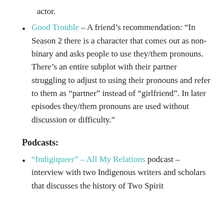actor.
Good Trouble – A friend’s recommendation: “In Season 2 there is a character that comes out as non-binary and asks people to use they/them pronouns. There’s an entire subplot with their partner struggling to adjust to using their pronouns and refer to them as “partner” instead of “girlfriend”. In later episodes they/them pronouns are used without discussion or difficulty.”
Podcasts:
“Indigiqueer” – All My Relations podcast – interview with two Indigenous writers and scholars that discusses the history of Two Spirit